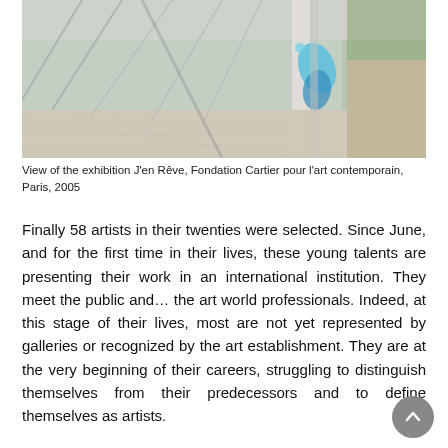[Figure (photo): View of a contemporary art exhibition space with large glass windows casting geometric shadows on a tiled floor. A decorative blue teardrop/leaf shape is visible on the glass.]
View of the exhibition J'en Rêve, Fondation Cartier pour l'art contemporain, Paris, 2005
Finally 58 artists in their twenties were selected. Since June, and for the first time in their lives, these young talents are presenting their work in an international institution. They meet the public and… the art world professionals. Indeed, at this stage of their lives, most are not yet represented by galleries or recognized by the art establishment. They are at the very beginning of their careers, struggling to distinguish themselves from their predecessors and to define themselves as artists.